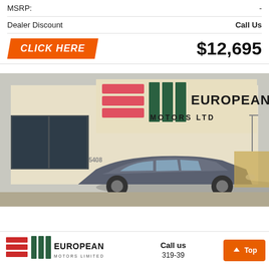|  |  |
| --- | --- |
| MSRP: | - |
| Dealer Discount | Call Us |
CLICK HERE   $12,695
[Figure (photo): Exterior photo of European Motors Ltd dealership with a gray sedan (Alfa Romeo Giulia) parked in front. The building has a large sign reading 'European Motors Ltd' with the company logo of red horizontal stripes and green vertical bars.]
[Figure (logo): European Motors Limited logo with red stripes and green vertical bars]
Call us
319-39
Top